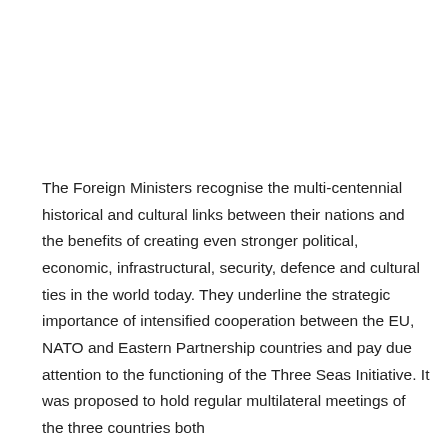The Foreign Ministers recognise the multi-centennial historical and cultural links between their nations and the benefits of creating even stronger political, economic, infrastructural, security, defence and cultural ties in the world today. They underline the strategic importance of intensified cooperation between the EU, NATO and Eastern Partnership countries and pay due attention to the functioning of the Three Seas Initiative. It was proposed to hold regular multilateral meetings of the three countries both...